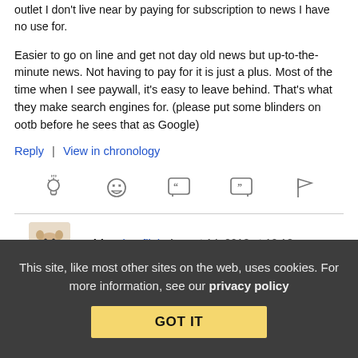outlet I don't live near by paying for subscription to news I have no use for.
Easier to go on line and get not day old news but up-to-the-minute news. Not having to pay for it is just a plus. Most of the time when I see paywall, it's easy to leave behind. That's what they make search engines for. (please put some blinders on ootb before he sees that as Google)
Reply | View in chronology
[Figure (infographic): Row of 5 action icons: lightbulb, laughing emoji, open-quote speech bubble, close-quote speech bubble, flag]
sehlat (profile) August 14, 2013 at 10:18 pm
This site, like most other sites on the web, uses cookies. For more information, see our privacy policy GOT IT